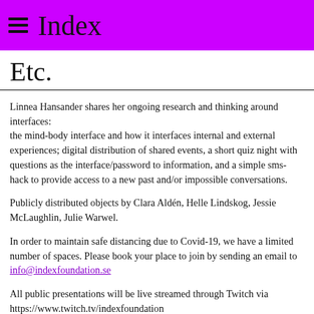≡ Index
Etc.
Linnea Hansander shares her ongoing research and thinking around interfaces:
the mind-body interface and how it interfaces internal and external experiences; digital distribution of shared events, a short quiz night with questions as the interface/password to information, and a simple sms-hack to provide access to a new past and/or impossible conversations.
Publicly distributed objects by Clara Aldén, Helle Lindskog, Jessie McLaughlin, Julie Warwel.
In order to maintain safe distancing due to Covid-19, we have a limited number of spaces. Please book your place to join by sending an email to info@indexfoundation.se
All public presentations will be live streamed through Twitch via https://www.twitch.tv/indexfoundation
[Figure (illustration): Three social/action icons: Facebook, Twitter, and Print]